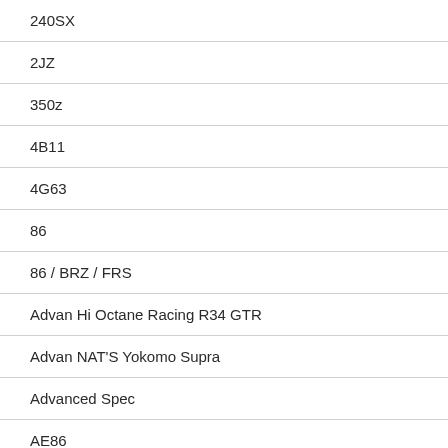240SX
2JZ
350z
4B11
4G63
86
86 / BRZ / FRS
Advan Hi Octane Racing R34 GTR
Advan NAT'S Yokomo Supra
Advanced Spec
AE86